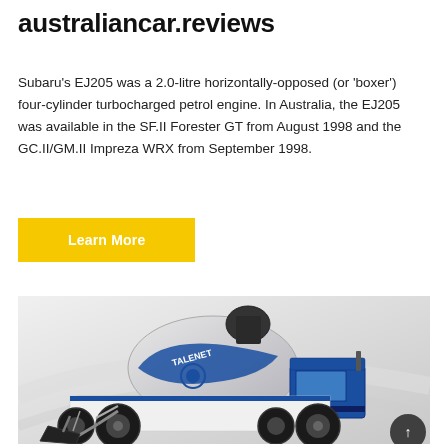australiancar.reviews
Subaru's EJ205 was a 2.0-litre horizontally-opposed (or 'boxer') four-cylinder turbocharged petrol engine. In Australia, the EJ205 was available in the SF.II Forester GT from August 1998 and the GC.II/GM.II Impreza WRX from September 1998.
Learn More
[Figure (photo): A blue and white TALENET brand self-loading concrete mixer truck photographed on a light grey gradient background. The vehicle has a large rotating drum, four large black tires, a front loader bucket, and an enclosed cab.]